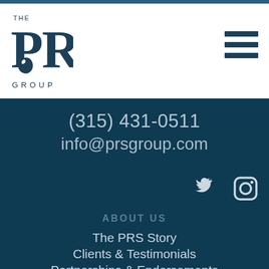[Figure (logo): The PRS Group logo with eagle/hawk icon and stylized text]
[Figure (other): Hamburger menu icon with three horizontal bars]
(315) 431-0511
info@prsgroup.com
[Figure (other): Twitter bird icon and Instagram camera icon, white on dark background]
ABOUT US
The PRS Story
Clients & Testimonials
Partnerships & Endorsements